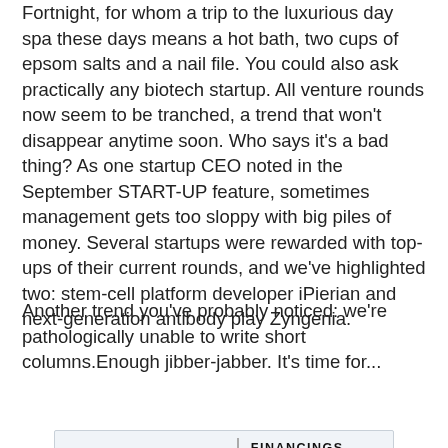Fortnight, for whom a trip to the luxurious day spa these days means a hot bath, two cups of epsom salts and a nail file. You could also ask practically any biotech startup. All venture rounds now seem to be tranched, a trend that won't disappear anytime soon. Who says it's a bad thing? As one startup CEO noted in the September START-UP feature, sometimes management gets too sloppy with big piles of money. Several startups were rewarded with top-ups of their current rounds, and we've highlighted two: stem-cell platform developer iPierian and next-generation antibody play Zyngenia.
Another trend you've probably noticed: we're pathologically unable to write short columns.Enough jibber-jabber. It's time for...
[Figure (logo): THE IN-VIVO BLOG | FINANCINGS OF THE FORTNIGHT logo banner]
Zogenix: San Diego's Zogenix hopes this season's IPO climate will be warmer than in 2008, when it scuttled a proposed offering as the broader economy chilled new listings. The company filed a new S-1 September 2...